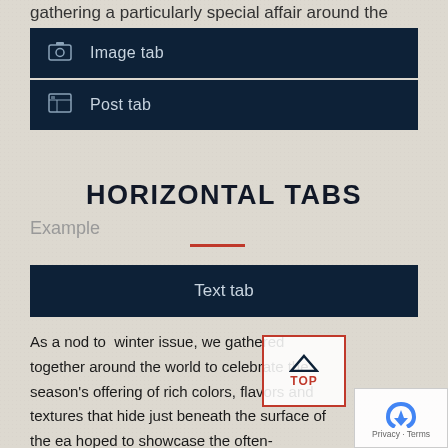gathering a particularly special affair around the globe.
Image tab
Post tab
HORIZONTAL TABS
Example
Text tab
As a nod to  winter issue, we gathered together around the world to celebrate the season's offering of rich colors, flavors and textures that hide just beneath the surface of the ea hoped to showcase the often-overlooked root vegetabl simply aren't celebrated in the same way as summer's bounty.